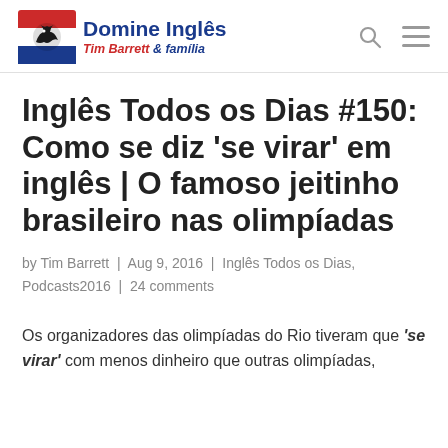Domine Inglês Tim Barrett & família
Inglês Todos os Dias #150: Como se diz 'se virar' em inglês | O famoso jeitinho brasileiro nas olimpíadas
by Tim Barrett | Aug 9, 2016 | Inglês Todos os Dias, Podcasts2016 | 24 comments
Os organizadores das olimpíadas do Rio tiveram que 'se virar' com menos dinheiro que outras olimpíadas,